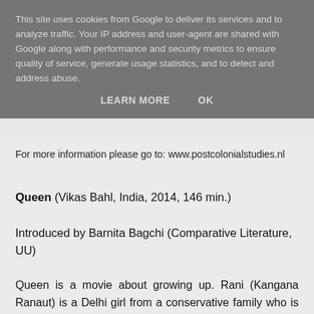This site uses cookies from Google to deliver its services and to analyze traffic. Your IP address and user-agent are shared with Google along with performance and security metrics to ensure quality of service, generate usage statistics, and to detect and address abuse.
LEARN MORE    OK
For more information please go to: www.postcolonialstudies.nl
Queen (Vikas Bahl, India, 2014, 146 min.)
Introduced by Barnita Bagchi (Comparative Literature, UU)
Queen is a movie about growing up. Rani (Kangana Ranaut) is a Delhi girl from a conservative family who is ditched by her fiancé just before her marriage. Shocked by this, she decides to set out on the planned honeymoon alone. As she travels the world and meets new people, she gains new experiences and discovers her own